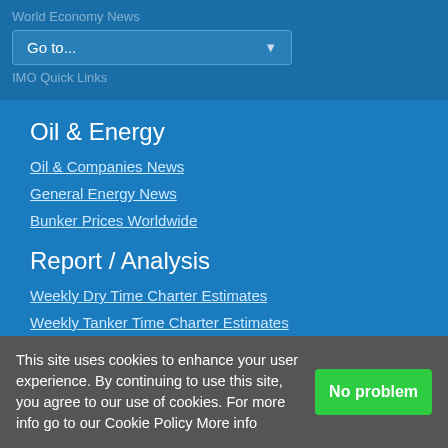World Economy News
IMO Quick Links
Go to...
Oil & Energy
Oil & Companies News
General Energy News
Bunker Prices Worldwide
Report / Analysis
Weekly Dry Time Charter Estimates
Weekly Tanker Time Charter Estimates
Weekly Container Reports Index
Weekly Vessel Valuations Report
Daily Tanker Market Rates
Daily Bunker Report
Cheapest Bunker Port Matrix
Weekly Shipbrokers Reports
Monthly Shipbrokers Reports
This site uses cookies to enhance your user experience. By continuing to use this site, you agree to our use of cookies. For more info go to our Cookie Policy More info